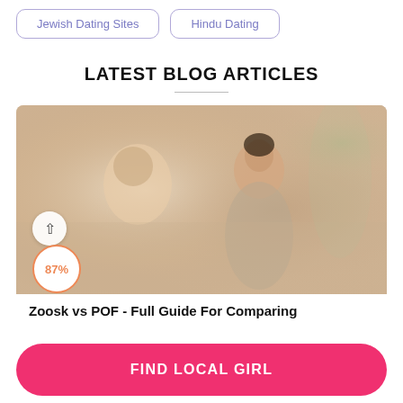Jewish Dating Sites
Hindu Dating
LATEST BLOG ARTICLES
[Figure (photo): Two people on a date in a restaurant, a woman smiling at a man, warm blurred background]
87%
Zoosk vs POF - Full Guide For Comparing
FIND LOCAL GIRL